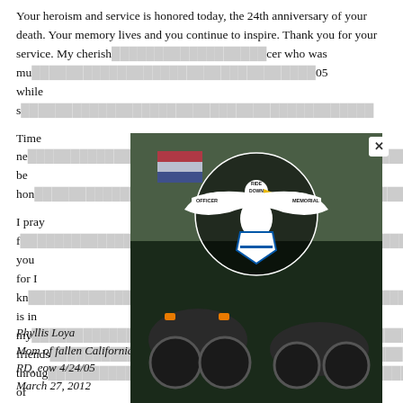Your heroism and service is honored today, the 24th anniversary of your death. Your memory lives and you continue to inspire. Thank you for your service. My cherished ... fellow officer who was mu... ...05 while s...
Time ne... ...ways be hon...
I pray f... ...er you for I kn... ...family is in my... ...nd friends... ...you throug... ...ud of all your...
Rest In...
[Figure (other): Officer Down Memorial Ride popup advertisement with motorcycle photo background. Shows eagle logo with text 'OFFICER DOWN MEMORIAL RIDE'. Large italic script 'Join Us' with text 'IN HONORING FALLEN HEROES', '11TH ANNUAL', 'OFFICER DOWN MEMORIAL RIDE', 'SEPTEMBER 24, 2022', and a red 'REGISTER NOW' button. Has an X close button in top right.]
Phyllis Loya
Mom of fallen California Officer Larry Lasater, Pittsburg PD, eow 4/24/05
March 27, 2012